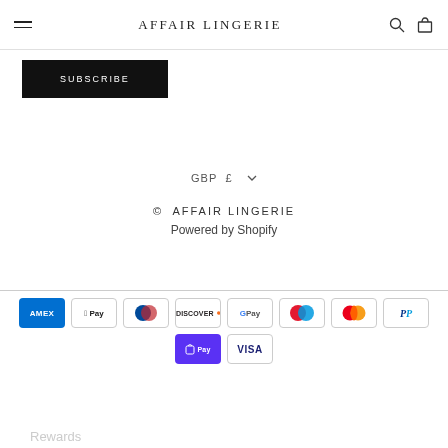AFFAIR LINGERIE
SUBSCRIBE
GBP £
© AFFAIR LINGERIE
Powered by Shopify
[Figure (logo): Payment method icons: Amex, Apple Pay, Diners Club, Discover, Google Pay, Maestro, Mastercard, PayPal, Shop Pay, Visa]
Rewards